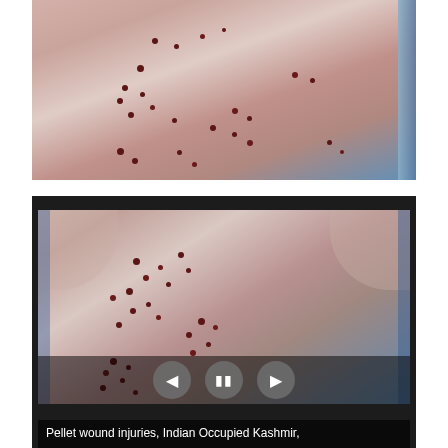[Figure (photo): Close-up photograph of a person's back showing multiple pellet wound injuries — small, dark puncture marks scattered across the skin.]
[Figure (photo): Video still of a person's back showing multiple pellet wound injuries with media player controls (previous, pause, next buttons) overlaid. Caption reads: Pellet wound injuries, Indian Occupied Kashmir,]
Pellet wound injuries, Indian Occupied Kashmir,